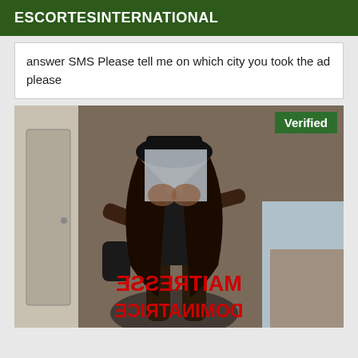ESCORTESINTERNATIONAL
answer SMS Please tell me on which city you took the ad please
[Figure (photo): Photo of a woman in black outfit with face blurred/redacted, with mirrored red text overlay reading MAITRESSE DOMINATRICE, and a green Verified badge in the top right corner]